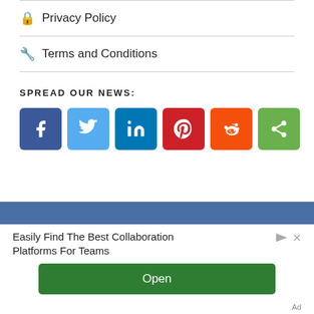Privacy Policy
Terms and Conditions
SPREAD OUR NEWS:
[Figure (infographic): Six social sharing buttons: Facebook (dark blue, f), Twitter (light blue, bird), LinkedIn (blue, in), Pinterest (red, p), Reddit (orange, alien), Share (green, <)]
[Figure (screenshot): Advertisement banner: blue bar, then ad content 'Easily Find The Best Collaboration Platforms For Teams' with green Open button and Ad label]